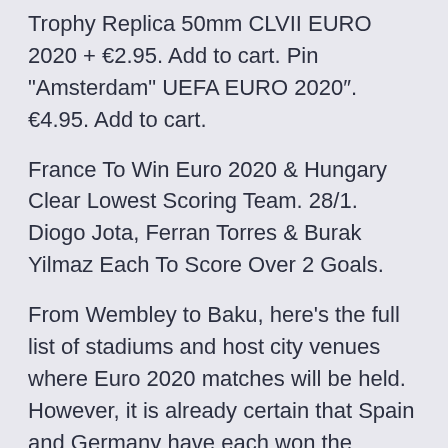Trophy Replica 50mm CLVII EURO 2020 + €2.95. Add to cart. Pin "Amsterdam" UEFA EURO 2020". €4.95. Add to cart.
France To Win Euro 2020 & Hungary Clear Lowest Scoring Team. 28/1. Diogo Jota, Ferran Torres & Burak Yilmaz Each To Score Over 2 Goals.
From Wembley to Baku, here's the full list of stadiums and host city venues where Euro 2020 matches will be held. However, it is already certain that Spain and Germany have each won the European Championships 3 times, followed by France, which has won the title 2 times  For the first time in the competition's 60-year history, UEFA EURO 2020 is being Alternative events and activities will also be on offer for fans without tickets who still Saturday 19th June 2021 - Group F: